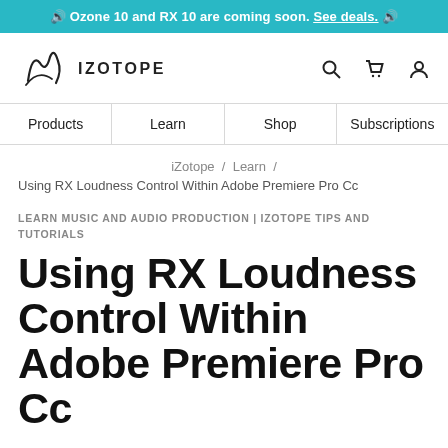🔊 Ozone 10 and RX 10 are coming soon. See deals. 🔊
[Figure (logo): iZotope logo with stylized signature mark and IZOTOPE text, plus search, cart, and user icons]
Products | Learn | Shop | Subscriptions
iZotope / Learn /
Using RX Loudness Control Within Adobe Premiere Pro Cc
LEARN MUSIC AND AUDIO PRODUCTION | IZOTOPE TIPS AND TUTORIALS
Using RX Loudness Control Within Adobe Premiere Pro Cc